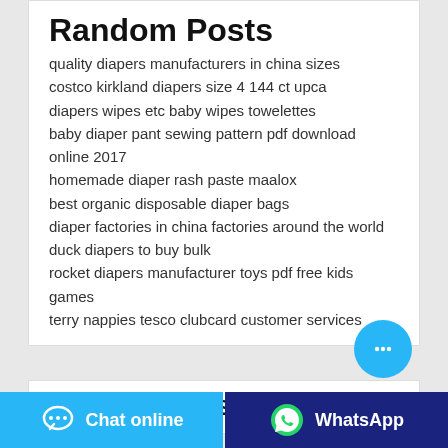Random Posts
quality diapers manufacturers in china sizes
costco kirkland diapers size 4 144 ct upca
diapers wipes etc baby wipes towelettes
baby diaper pant sewing pattern pdf download online 2017
homemade diaper rash paste maalox
best organic disposable diaper bags
diaper factories in china factories around the world
duck diapers to buy bulk
rocket diapers manufacturer toys pdf free kids games
terry nappies tesco clubcard customer services
HOT PRODUCTS
Chat online
WhatsApp